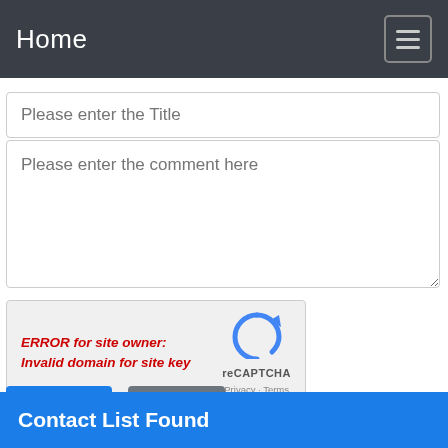Home
Please enter the Title
Please enter the comment here
[Figure (screenshot): reCAPTCHA widget showing error: ERROR for site owner: Invalid domain for site key, with reCAPTCHA logo, Privacy and Terms links]
Submit
Reset
Contact List Found